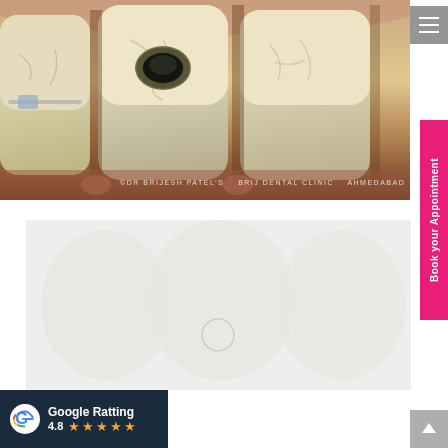[Figure (photo): Close-up clinical photograph of teeth showing dental caries/decay on a molar tooth. Three teeth visible with the middle one having a dark cavity lesion on the occlusal surface. Watermark reads: ©DR BRIJESH PATEL'S BRIJ DENTAL CLINIC AHMEDABAD]
[Figure (photo): Second image area appearing as a light grey/loading placeholder with a circular loading indicator in the center]
Google Ratting 4.8 ★★★★★